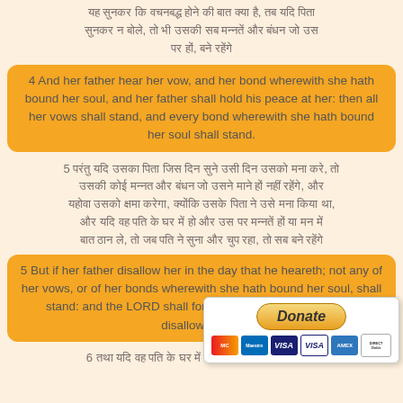Hindi text verse (transliterated): top paragraph in Hindi/Devanagari script
4 And her father hear her vow, and her bond wherewith she hath bound her soul, and her father shall hold his peace at her: then all her vows shall stand, and every bond wherewith she hath bound her soul shall stand.
5 Hindi/Devanagari verse text
5 But if her father disallow her in the day that he heareth; not any of her vows, or of her bonds wherewith she hath bound her soul, shall stand: and the LORD shall forgive her; because her father disallowed her.
6 partial Hindi/Devanagari verse text
[Figure (other): PayPal Donate button with payment card icons (MasterCard, Maestro, Visa, Visa, Amex, Direct Debit)]